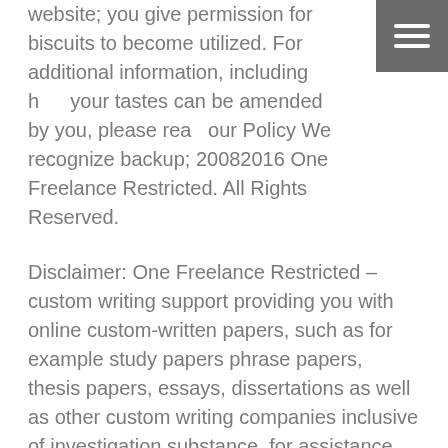website; you give permission for biscuits to become utilized. For additional information, including how your tastes can be amended by you, please read our Policy We recognize backup; 20082016 One Freelance Restricted. All Rights Reserved.
Disclaimer: One Freelance Restricted – custom writing support providing you with online custom-written papers, such as for example study papers phrase papers, thesis papers, essays, dissertations as well as other custom writing companies inclusive of investigation substance, for assistance applications only. These custom papers should really be used in combination with reference that was right.
Since led is very vital in your phone and may influence how it operates, let's take a quick look